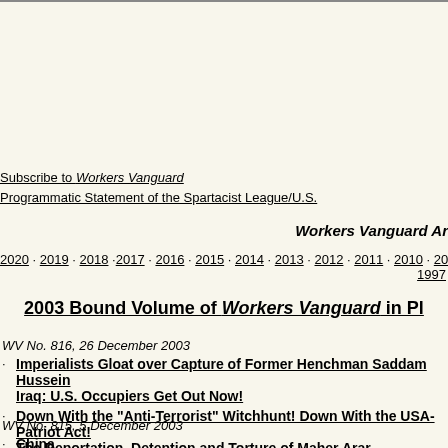Subscribe to Workers Vanguard
Programmatic Statement of the Spartacist League/U.S.
Workers Vanguard Ar
2020 · 2019 · 2018 · 2017 · 2016 · 2015 · 2014 · 2013 · 2012 · 2011 · 2010 · 2009 · 2008 · 200... 1997
2003 Bound Volume of Workers Vanguard in Pl...
WV No. 816, 26 December 2003
Imperialists Gloat over Capture of Former Henchman Saddam Hussein Iraq: U.S. Occupiers Get Out Now!
Down With the "Anti-Terrorist" Witchhunt! Down With the USA-Patriot Act! The Deportation, Detention and Torture of Maher Arar
WV No. 815, 5 December 2003
China Defend, Extend Gains of 1949 Revolution! For Workers Political Revolution t...